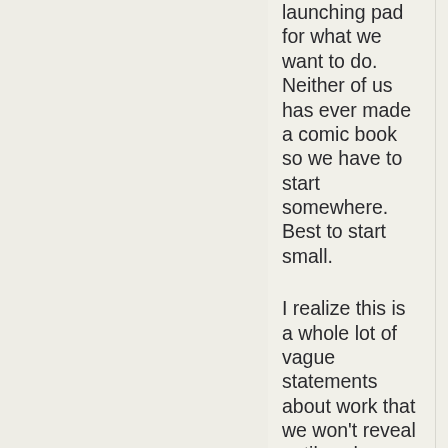launching pad for what we want to do. Neither of us has ever made a comic book so we have to start somewhere. Best to start small.
I realize this is a whole lot of vague statements about work that we won't reveal until we have actual details. But my blog seems like the place to note how quickly the initial dream of